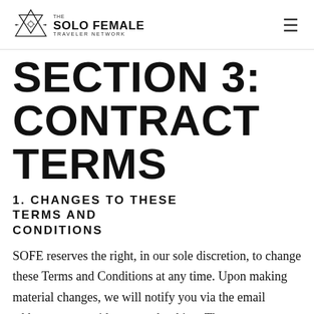THE SOLO FEMALE TRAVELER NETWORK
SECTION 3: CONTRACT TERMS
1. CHANGES TO THESE TERMS AND CONDITIONS
SOFE reserves the right, in our sole discretion, to change these Terms and Conditions at any time. Upon making material changes, we will notify you via the email address you provide to us at booking. The current terms will apply to